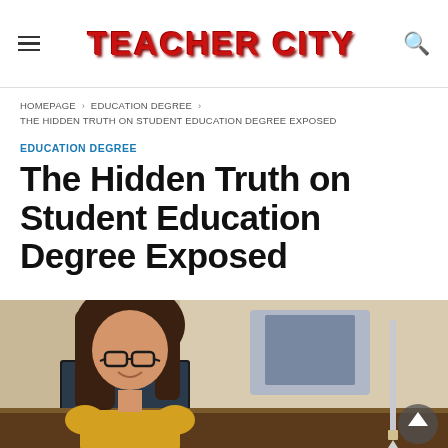TEACHER CITY
HOMEPAGE › EDUCATION DEGREE › THE HIDDEN TRUTH ON STUDENT EDUCATION DEGREE EXPOSED
EDUCATION DEGREE
The Hidden Truth on Student Education Degree Exposed
[Figure (photo): Young woman with glasses studying at a computer desk, smiling, viewed from the side]